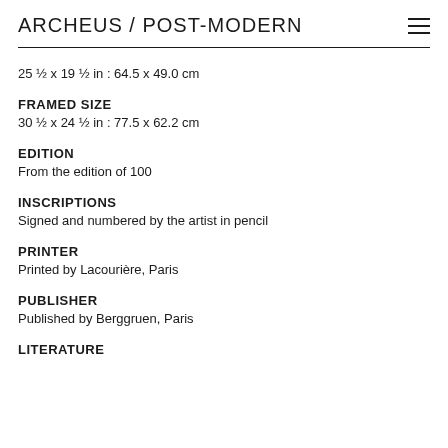ARCHEUS / POST-MODERN
25 ½ x 19 ½ in : 64.5 x 49.0 cm
FRAMED SIZE
30 ½ x 24 ½ in : 77.5 x 62.2 cm
EDITION
From the edition of 100
INSCRIPTIONS
Signed and numbered by the artist in pencil
PRINTER
Printed by Lacourière, Paris
PUBLISHER
Published by Berggruen, Paris
LITERATURE